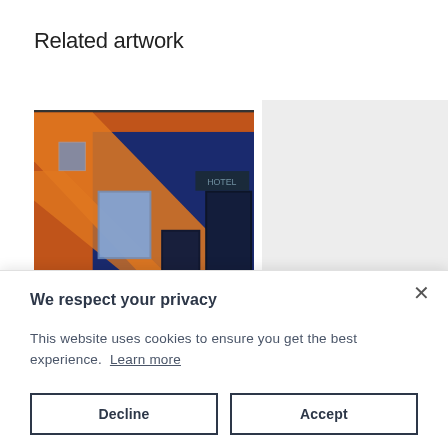Related artwork
[Figure (photo): Painting of a brick building facade with blue doors and orange diagonal lines/shadows, urban street scene]
[Figure (photo): Gray placeholder rectangle for second artwork image]
We respect your privacy
This website uses cookies to ensure you get the best experience. Learn more
Decline
Accept
Low Men in Yellow Coats
Obsessed